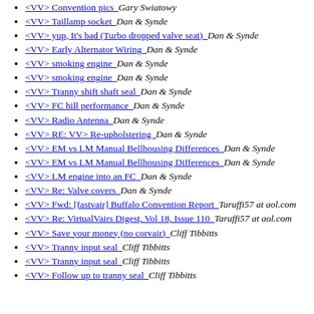<VV> Convention pics  Gary Swiatowy
<VV> Taillamp socket  Dan & Synde
<VV> yup, It's bad (Turbo dropped valve seat)  Dan & Synde
<VV> Early Alternator Wiring  Dan & Synde
<VV> smoking engine  Dan & Synde
<VV> smoking engine  Dan & Synde
<VV> Tranny shift shaft seal  Dan & Synde
<VV> FC hill performance  Dan & Synde
<VV> Radio Antenna  Dan & Synde
<VV> RE: VV> Re-upholstering  Dan & Synde
<VV> EM vs LM Manual Bellhousing Differences  Dan & Synde
<VV> EM vs LM Manual Bellhousing Differences  Dan & Synde
<VV> LM engine into an FC  Dan & Synde
<VV> Re: Valve covers  Dan & Synde
<VV> Fwd: [fastvair] Buffalo Convention Report  Taruffi57 at aol.com
<VV> Re: VirtualVairs Digest, Vol 18, Issue 110  Taruffi57 at aol.com
<VV> Save your money (no corvair)  Cliff Tibbitts
<VV> Tranny input seal  Cliff Tibbitts
<VV> Tranny input seal  Cliff Tibbitts
<VV> Follow up to tranny seal  Cliff Tibbitts